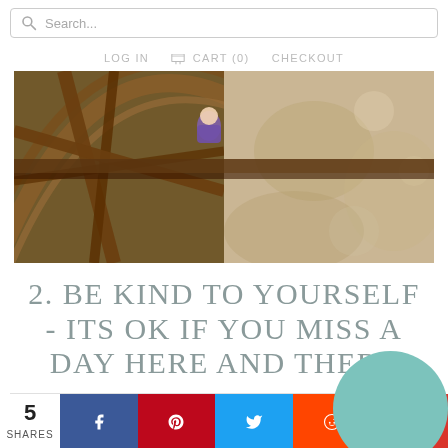Search... | LOG IN | CART (0) | CHECKOUT
[Figure (photo): Child sitting on a large wooden wagon wheel with rustic barn background, outdoor scene]
2. BE KIND TO YOURSELF - ITS OK IF YOU MISS A DAY HERE AND THERE
5 SHARES — social share buttons: Facebook, Pinterest, Twitter, Reddit, Flipboard